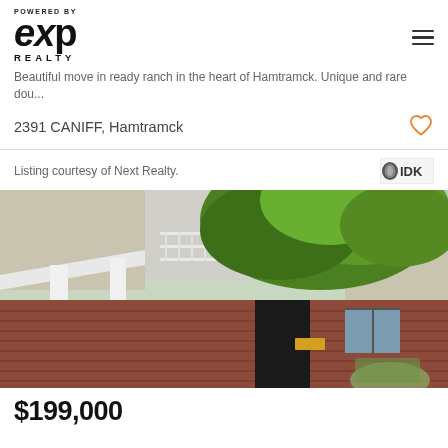[Figure (logo): eXp Realty logo with 'POWERED BY' text above and 'REALTY' text below the stylized eXp lettering]
Beautiful move in ready ranch in the heart of Hamtramck. Unique and rare dou...
2391 CANIFF, Hamtramck
Listing courtesy of Next Realty.
[Figure (photo): Exterior photograph of a brick two-story house with white porch columns, a balcony, and a large green tree in the foreground]
$199,000